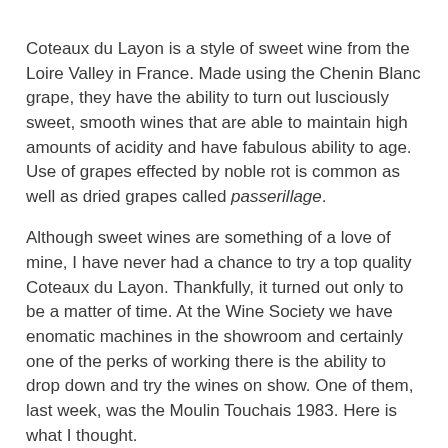Coteaux du Layon is a style of sweet wine from the Loire Valley in France. Made using the Chenin Blanc grape, they have the ability to turn out lusciously sweet, smooth wines that are able to maintain high amounts of acidity and have fabulous ability to age. Use of grapes effected by noble rot is common as well as dried grapes called passerillage.
Although sweet wines are something of a love of mine, I have never had a chance to try a top quality Coteaux du Layon. Thankfully, it turned out only to be a matter of time. At the Wine Society we have enomatic machines in the showroom and certainly one of the perks of working there is the ability to drop down and try the wines on show. One of them, last week, was the Moulin Touchais 1983. Here is what I thought.
[Figure (photo): Photo of a wine bottle next to a Wine Society label/book, dark background, bottle with metallic foil top visible on the right side]